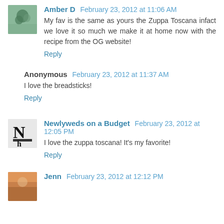Amber D  February 23, 2012 at 11:06 AM
My fav is the same as yours the Zuppa Toscana infact we love it so much we make it at home now with the recipe from the OG website!
Reply
Anonymous  February 23, 2012 at 11:37 AM
I love the breadsticks!
Reply
Newlyweds on a Budget  February 23, 2012 at 12:05 PM
I love the zuppa toscana! It's my favorite!
Reply
Jenn  February 23, 2012 at 12:12 PM